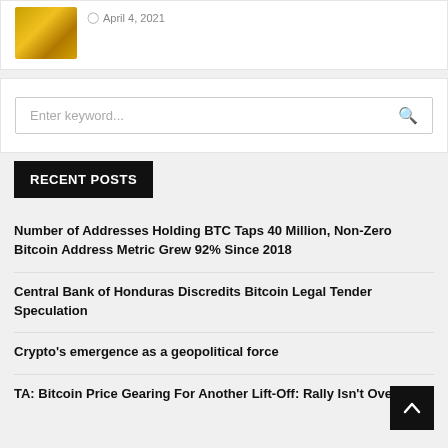[Figure (photo): Gold Bitcoin coin photo thumbnail]
April 4, 2021
Enter keyword...
RECENT POSTS
Number of Addresses Holding BTC Taps 40 Million, Non-Zero Bitcoin Address Metric Grew 92% Since 2018
Central Bank of Honduras Discredits Bitcoin Legal Tender Speculation
Crypto's emergence as a geopolitical force
TA: Bitcoin Price Gearing For Another Lift-Off: Rally Isn't Over Yet